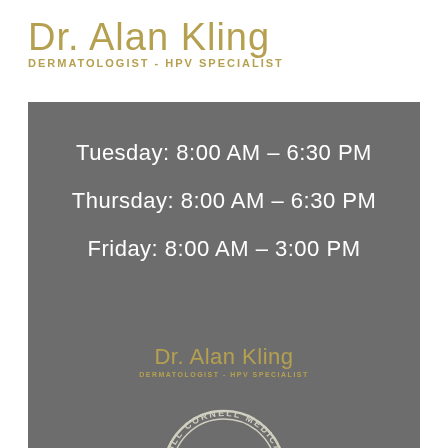Dr. Alan Kling DERMATOLOGIST - HPV SPECIALIST
Tuesday: 8:00 AM – 6:30 PM
Thursday: 8:00 AM – 6:30 PM
Friday: 8:00 AM – 3:00 PM
[Figure (logo): Dr. Alan Kling Dermatologist - HPV Specialist inner logo in gold on gray background]
[Figure (logo): Weill Cornell Medical College circular seal/emblem in white outline on gray background]